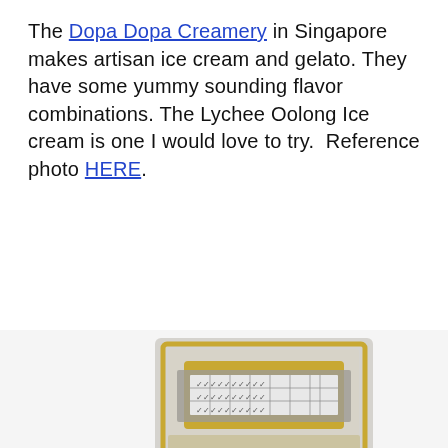The Dopa Dopa Creamery in Singapore makes artisan ice cream and gelato. They have some yummy sounding flavor combinations. The Lychee Oolong Ice cream is one I would love to try.  Reference photo HERE.
[Figure (illustration): Watercolor illustration of a building facade or signboard with Chinese characters, featuring gray and yellow/gold tones, with two grid-patterned window or panel sections and bold black Chinese calligraphy in the middle.]